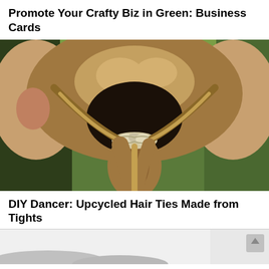Promote Your Crafty Biz in Green: Business Cards
[Figure (photo): Back of a woman's head showing a ponytail held with a braided rope-style hair tie, set against a blurred green outdoor background]
DIY Dancer: Upcycled Hair Ties Made from Tights
[Figure (photo): Partially visible image at the bottom, appears to show a light grey/foggy outdoor scene, cropped]